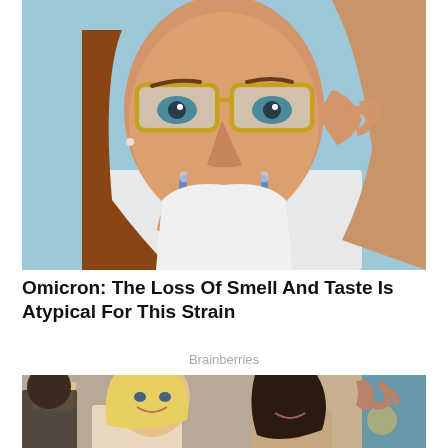[Figure (photo): Close-up of a woman wearing gold-framed glasses, holding a small glass with blue liquid near her face, appearing to smell or taste it. Light blue background.]
Omicron: The Loss Of Smell And Taste Is Atypical For This Strain
Brainberries
[Figure (photo): Two smiling women waving at the camera in a decorated indoor setting with curtains and warm lighting in the background.]